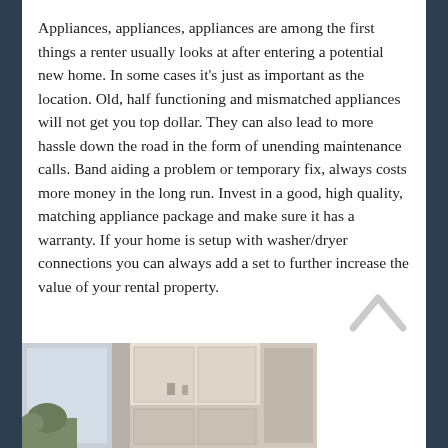Appliances, appliances, appliances are among the first things a renter usually looks at after entering a potential new home. In some cases it's just as important as the location. Old, half functioning and mismatched appliances will not get you top dollar. They can also lead to more hassle down the road in the form of unending maintenance calls. Band aiding a problem or temporary fix, always costs more money in the long run. Invest in a good, high quality, matching appliance package and make sure it has a warranty. If your home is setup with washer/dryer connections you can always add a set to further increase the value of your rental property.
[Figure (photo): Interior photo of a kitchen/home showing white cabinetry and kitchen appliances, partially visible at the bottom of the page]